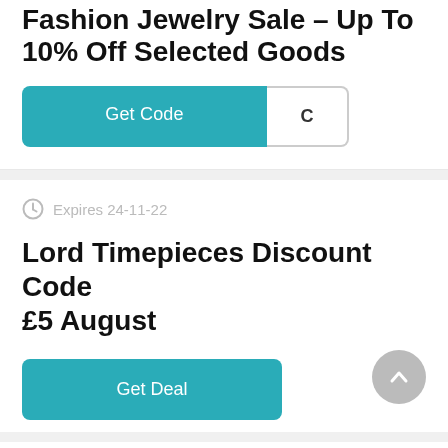Fashion Jewelry Sale – Up To 10% Off Selected Goods
Get Code | C
Expires 24-11-22
Lord Timepieces Discount Code £5 August
Get Deal
Expires 21-11-22